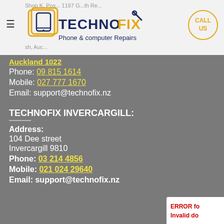Technofix Phone & computer Repairs
Auckland 1022
Phone: 09 815 1614
Mobile: 027 777 1670
Email: support@technofix.nz
TECHNOFIX INVERCARGILL:
Address:
104 Dee street
Invercargill 9810
Phone: 03 214 4856
Mobile: 021 024 29640
Email: support@technofix.nz
ERROR for Invalid do